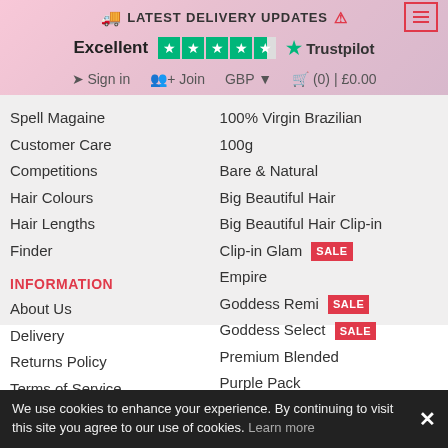🚚 LATEST DELIVERY UPDATES ℹ
[Figure (logo): Trustpilot rating: Excellent with 4.5 stars]
➜ Sign in  👤+ Join  GBP ▾  🛒 (0) | £0.00
Spell Magaine
Customer Care
Competitions
Hair Colours
Hair Lengths
Finder
INFORMATION
About Us
Delivery
Returns Policy
Terms of Service
Privacy Policy
GIFT & MAGAZINE
100% Virgin Brazilian
100g
Bare & Natural
Big Beautiful Hair
Big Beautiful Hair Clip-in
Clip-in Glam SALE
Empire
Goddess Remi SALE
Goddess Select SALE
Premium Blended
Purple Pack
Spotlight
The Feme Collection V
HAIRPIECES
We use cookies to enhance your experience. By continuing to visit this site you agree to our use of cookies. Learn more ✕